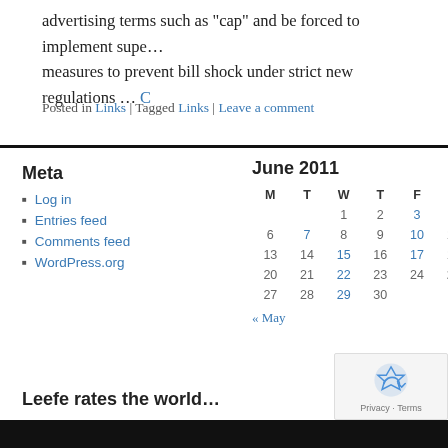advertising terms such as "cap" and be forced to implement sup… measures to prevent bill shock under strict new regulations …
Posted in Links | Tagged Links | Leave a comment
Meta
Log in
Entries feed
Comments feed
WordPress.org
| M | T | W | T | F | S |
| --- | --- | --- | --- | --- | --- |
|  |  | 1 | 2 | 3 | 4 |
| 6 | 7 | 8 | 9 | 10 | 11 |
| 13 | 14 | 15 | 16 | 17 | 18 |
| 20 | 21 | 22 | 23 | 24 | 25 |
| 27 | 28 | 29 | 30 |  |  |
Leefe rates the world…